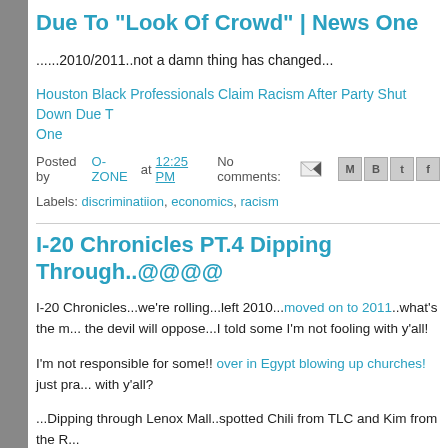Due To "Look Of Crowd" | News One
......2010/2011..not a damn thing has changed...
Houston Black Professionals Claim Racism After Party Shut Down Due To News One
Posted by O-ZONE at 12:25 PM   No comments:
Labels: discriminatiion, economics, racism
I-20 Chronicles PT.4 Dipping Through..@@@@
I-20 Chronicles...we're rolling...left 2010....moved on to 2011..what's the m... the devil will oppose...I told some I'm not fooling with y'all!
I'm not responsible for some!! over in Egypt blowing up churches! just pra... with y'all?
...Dipping through Lenox Mall..spotted Chili from TLC and Kim from the R...
....Dipping through..TV screen mentions the new Pitt coach..reminded tha... domestic..."one call that's all".. word from Ken Nugent the attorney on TV...